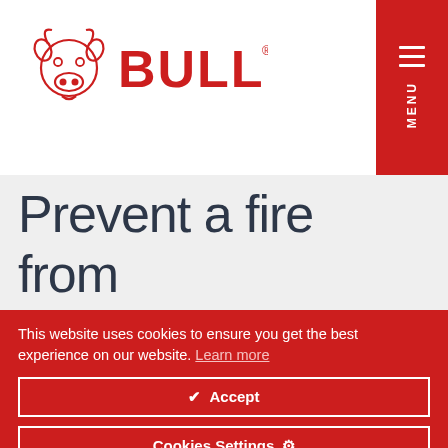[Figure (logo): Bull brand logo: bull head outline in red on the left, red bold text 'BULL' with registered trademark symbol on the right]
MENU
Prevent a fire from spreading on your
This website uses cookies to ensure you get the best experience on our website. Learn more
✔ Accept
Cookies Settings ⚙